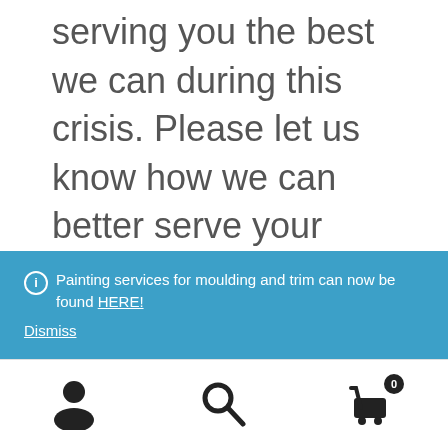serving you the best we can during this crisis. Please let us know how we can better serve your needs. 951-412-4175
Try to wash your hands with hot soapy water as much as you can!
Painting services for moulding and trim can now be found HERE! Dismiss
[Figure (other): Bottom navigation bar with person icon, search icon, and shopping cart icon with badge showing 0]